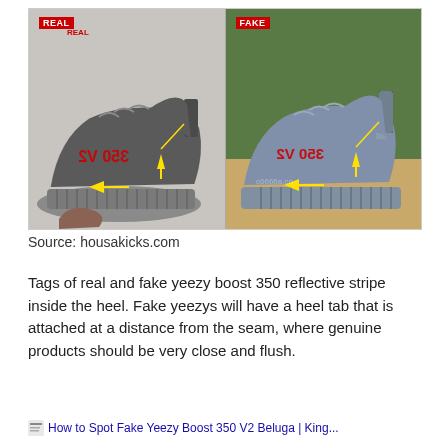[Figure (photo): Side-by-side comparison of a real (left, dark grey) and fake (right, blue-grey) Yeezy Boost 350 sneaker. Both images have yellow arrows pointing to the heel tab area and red text annotations. The real sneaker is labeled 'REAL' in red on white background. The fake sneaker is labeled 'FAKE' in red on white background. Yellow arrows indicate the heel seam/tab attachment points.]
Source: housakicks.com
Tags of real and fake yeezy boost 350 reflective stripe inside the heel. Fake yeezys will have a heel tab that is attached at a distance from the seam, where genuine products should be very close and flush.
How to Spot Fake Yeezy Boost 350 V2 Beluga | King...